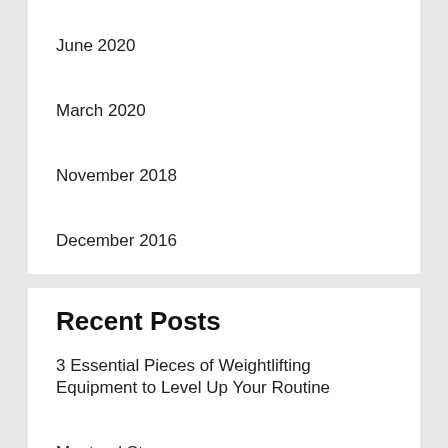June 2020
March 2020
November 2018
December 2016
Recent Posts
3 Essential Pieces of Weightlifting Equipment to Level Up Your Routine
Montreal Store
Three Former Syracuse Stars to Watch This Coming Season